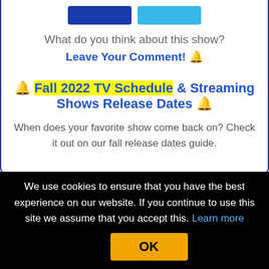What do you think about this show?
Leave Your Comment! 🔔
🔔 Fall 2022 TV Schedule & Streaming Shows Release Dates 🔔
When does your favorite show come back on? Check it out on our fall release dates guide.
We use cookies to ensure that you have the best experience on our website. If you continue to use this site we assume that you accept this. Learn more OK